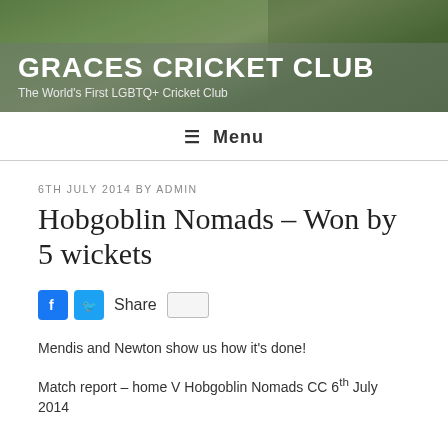GRACES CRICKET CLUB — The World's First LGBTQ+ Cricket Club
≡ Menu
6TH JULY 2014 BY ADMIN
Hobgoblin Nomads – Won by 5 wickets
Share
Mendis and Newton show us how it's done!
Match report – home V Hobgoblin Nomads CC 6th July 2014